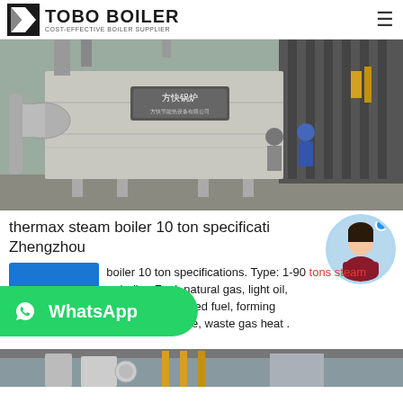TOBO BOILER — COST-EFFECTIVE BOILER SUPPLIER
[Figure (photo): Industrial boiler installation — large silver metallic boiler unit with Chinese text label, two workers standing nearby in an industrial facility with pipes and ductwork]
thermax steam boiler 10 ton specifications Zhengzhou
boiler 10 ton specifications. Type: 1-90 tons steam boiler. Fuel: natural gas, light oil, and other direct-fired fuel, forming biomass, bituminous coal, anthracite, waste gas heat .
[Figure (photo): Partial view of industrial boiler equipment with yellow pipes]